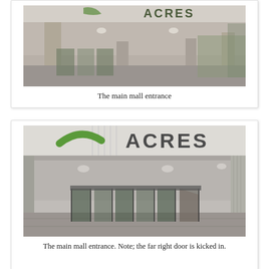[Figure (photo): Photograph of the main mall entrance showing the 'ACRES' sign at top, a covered canopy area with concrete pillars, and glass doors in the background. Trees visible on the right side.]
The main mall entrance
[Figure (photo): Closer photograph of the main mall entrance showing the 'ACRES' sign prominently with a green arc logo on the left, the covered entrance canopy, concrete columns, and glass doors including a kicked-in door on the far right.]
The main mall entrance. Note; the far right door is kicked in.